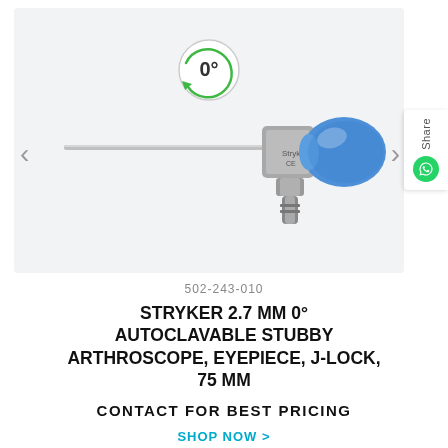[Figure (photo): Stryker 2.7mm 0° arthroscope medical instrument with blue eyepiece and metallic shaft, shown against light grey background. A circular badge showing '0°' with a green arrow is visible in the upper area of the image.]
502-243-010
STRYKER 2.7 MM 0° AUTOCLAVABLE STUBBY ARTHROSCOPE, EYEPIECE, J-LOCK, 75 MM
CONTACT FOR BEST PRICING
SHOP NOW >